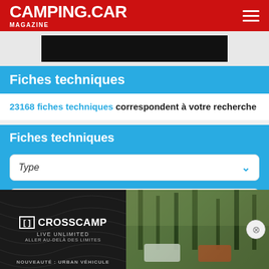CAMPING.CAR MAGAZINE
[Figure (photo): Partial image with black overlay/rectangle, partially visible]
Fiches techniques
23168 fiches techniques correspondent à votre recherche
Fiches techniques
Type (dropdown filter)
[Figure (photo): CROSSCAMP advertisement banner: left side dark with CROSSCAMP LIVE UNLIMITED ALLER AU-DELÀ DES LIMITES text, right side shows campervans in forest with NOUVEAUTÉ: URBAN VÉHICULE text]